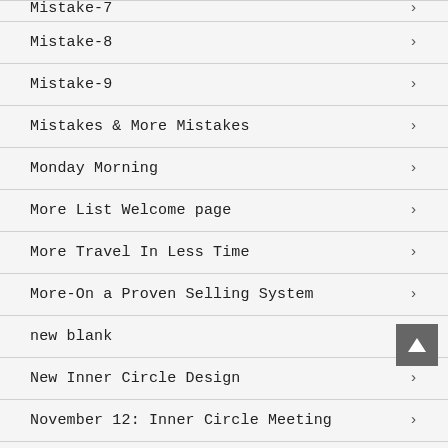Mistake-7
Mistake-8
Mistake-9
Mistakes & More Mistakes
Monday Morning
More List Welcome page
More Travel In Less Time
More-On a Proven Selling System
new blank
New Inner Circle Design
November 12: Inner Circle Meeting
paper Template
Paper Template Model